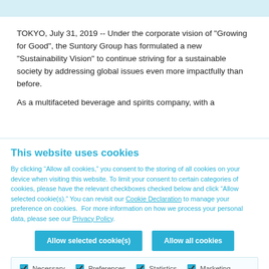TOKYO, July 31, 2019 -- Under the corporate vision of "Growing for Good", the Suntory Group has formulated a new "Sustainability Vision" to continue striving for a sustainable society by addressing global issues even more impactfully than before.
As a multifaceted beverage and spirits company, with a
This website uses cookies
By clicking “Allow all cookies,” you consent to the storing of all cookies on your device when visiting this website. To limit your consent to certain categories of cookies, please have the relevant checkboxes checked below and click “Allow selected cookie(s).” You can revisit our Cookie Declaration to manage your preference on cookies.  For more information on how we process your personal data, please see our Privacy Policy.
Allow selected cookie(s) | Allow all cookies
Necessary | Preferences | Statistics | Marketing | Show details